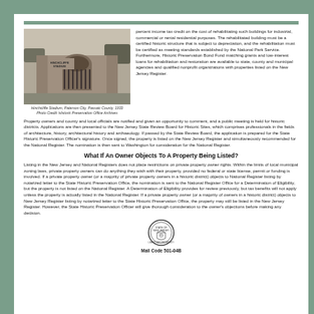[Figure (photo): Black and white photo of Hinchcliffe Stadium, Paterson City, Passaic County, 1933]
Hinchcliffe Stadium, Paterson City, Passaic County, 1933
Photo Credit: Historic Preservation Office Archives
percent income tax credit on the cost of rehabilitating such buildings for industrial, commercial or rental residential purposes. The rehabilitated building must be a certified historic structure that is subject to depreciation, and the rehabilitation must be certified as meeting standards established by the National Park Service. Furthermore, Historic Preservation Bond Fund matching grants and low-interest loans for rehabilitation and restoration are available to state, county and municipal agencies and qualified nonprofit organizations with properties listed on the New Jersey Register.
Property owners and county and local officials are notified and given an opportunity to comment, and a public meeting is held for historic districts. Applications are then presented to the New Jersey State Review Board for Historic Sites, which comprises professionals in the fields of architecture, history, architectural history and archaeology. If passed by the State Review Board, the application is prepared for the State Historic Preservation Officer's signature. Once signed, the property is listed on the New Jersey Register and simultaneously recommended for the National Register. The nomination is then sent to Washington for consideration for the National Register.
What If An Owner Objects To A Property Being Listed?
Listing in the New Jersey and National Registers does not place restrictions on private property owner rights. Within the limits of local municipal zoning laws, private property owners can do anything they wish with their property, provided no federal or state license, permit or funding is involved. If a private property owner (or a majority of private property owners in a historic district) objects to National Register listing by notarized letter to the State Historic Preservation Office, the nomination is sent to the National Register Office for a Determination of Eligibility, but the property is not listed on the National Register. A Determination of Eligibility provides for review previously, but tax benefits will not apply unless the property is actually listed in the National Register. If a private property owner (or a majority of owners in a historic district) objects to New Jersey Register listing by notarized letter to the State Historic Preservation Office, the property may still be listed in the New Jersey Register. However, the State Historic Preservation Officer will give thorough consideration to the owner's objections before making any decision.
[Figure (logo): New Jersey State seal / government seal]
Mail Code 501-04B